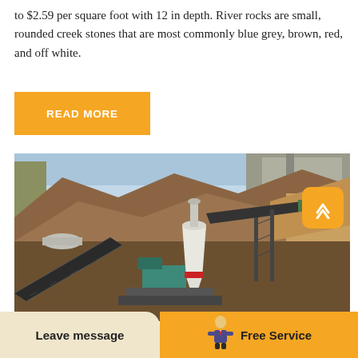to $2.59 per square foot with 12 in depth. River rocks are small, rounded creek stones that are most commonly blue grey, brown, red, and off white.
READ MORE
[Figure (photo): Outdoor mining or quarrying site with heavy machinery including a cone crusher, conveyor belts, and large mounds of excavated earth and rock, with concrete structures in the background.]
Leave message
Free Service